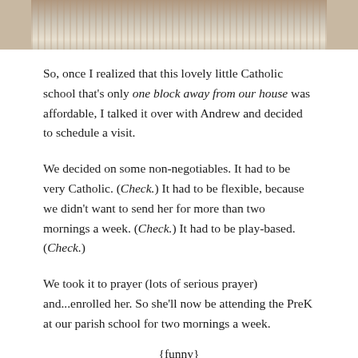[Figure (photo): Partial photo strip showing people sitting, cropped at top of page]
So, once I realized that this lovely little Catholic school that's only one block away from our house was affordable, I talked it over with Andrew and decided to schedule a visit.
We decided on some non-negotiables. It had to be very Catholic. (Check.) It had to be flexible, because we didn't want to send her for more than two mornings a week. (Check.) It had to be play-based. (Check.)
We took it to prayer (lots of serious prayer) and...enrolled her. So she'll now be attending the PreK at our parish school for two mornings a week.
{funny}